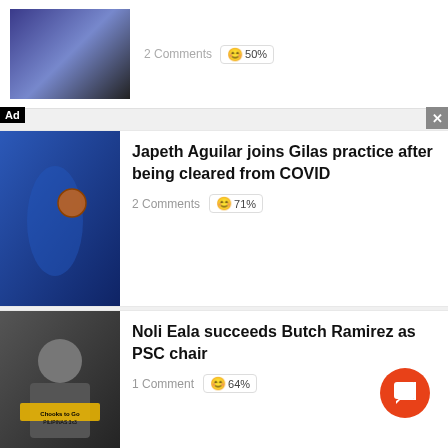[Figure (photo): Partially visible article with thumbnail image at top, showing '2 Comments 😊 50%' metadata]
Japeth Aguilar joins Gilas practice after being cleared from COVID — 2 Comments 😊 71%
Noli Eala succeeds Butch Ramirez as PSC chair — 1 Comment 😊 64%
Jordan Clarkson on what PH basketball is: 'Dribble drive' — 1 Comment 😊 47%
Jayson Castro, TNT make...